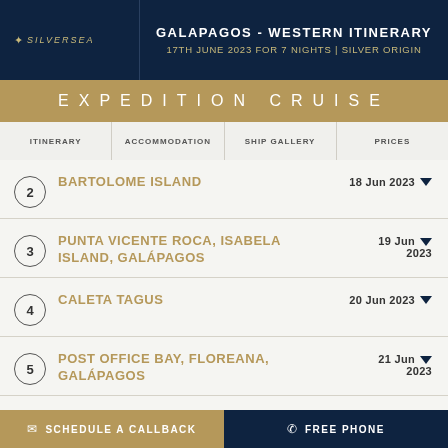GALAPAGOS - WESTERN ITINERARY
17TH JUNE 2023 FOR 7 NIGHTS | SILVER ORIGIN
EXPEDITION CRUISE
ITINERARY | ACCOMMODATION | SHIP GALLERY | PRICES
2 BARTOLOME ISLAND — 18 Jun 2023
3 PUNTA VICENTE ROCA, ISABELA ISLAND, GALÁPAGOS — 19 Jun 2023
4 CALETA TAGUS — 20 Jun 2023
5 POST OFFICE BAY, FLOREANA, GALÁPAGOS — 21 Jun 2023
SCHEDULE A CALLBACK | FREE PHONE